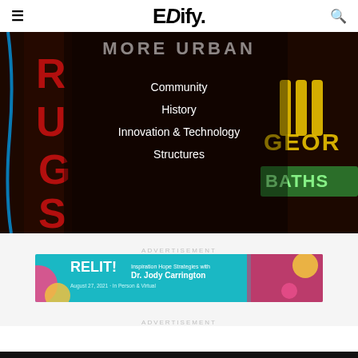EDify.
[Figure (photo): Background photo of colorful neon signs including DRUGS, GEORGE BATHS text signs, dark urban night scene]
MORE URBAN
Community
History
Innovation & Technology
Structures
ADVERTISEMENT
[Figure (illustration): RELIT! advertisement banner - Inspiration Hope Strategies with Dr. Jody Carrington, August 27, 2021 - In Person & Virtual]
ADVERTISEMENT